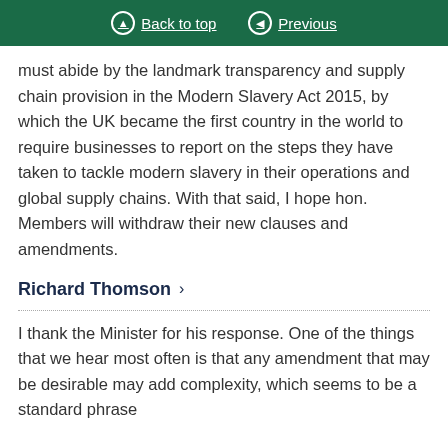Back to top   Previous
must abide by the landmark transparency and supply chain provision in the Modern Slavery Act 2015, by which the UK became the first country in the world to require businesses to report on the steps they have taken to tackle modern slavery in their operations and global supply chains. With that said, I hope hon. Members will withdraw their new clauses and amendments.
Richard Thomson
I thank the Minister for his response. One of the things that we hear most often is that any amendment that may be desirable may add complexity, which seems to be a standard phrase